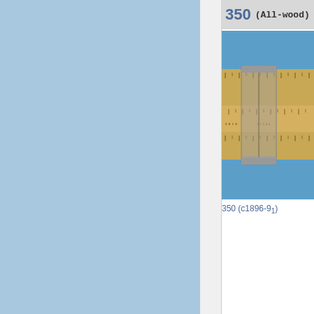350 (All-wood)
[Figure (photo): Photograph of a wooden slide rule (model 350, circa 1896-9) with a metal cursor/runner on a blue background]
350 (c1896-9₁)